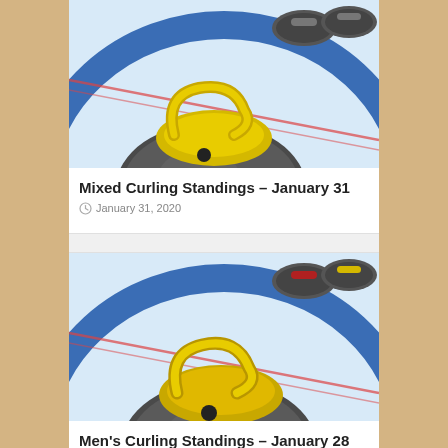[Figure (photo): Close-up photo of curling stones on ice, with a yellow-handled stone in the foreground and blue/grey stones in the background on a blue circle target.]
Mixed Curling Standings – January 31
January 31, 2020
[Figure (photo): Close-up photo of curling stones on ice, with a yellow-handled stone in the foreground and stones with red/yellow handles in the background on a blue circle target.]
Men’s Curling Standings – January 28